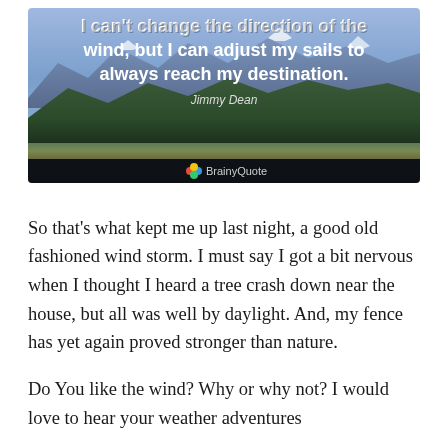[Figure (photo): A motivational quote image from BrainyQuote overlaid on a mountain landscape. Quote reads: 'I can't change the direction of the wind, but I can adjust my sails to always reach my destination.' attributed to Jimmy Dean.]
So that's what kept me up last night, a good old fashioned wind storm. I must say I got a bit nervous when I thought I heard a tree crash down near the house, but all was well by daylight. And, my fence has yet again proved stronger than nature.
Do You like the wind? Why or why not? I would love to hear your weather adventures
Jenny